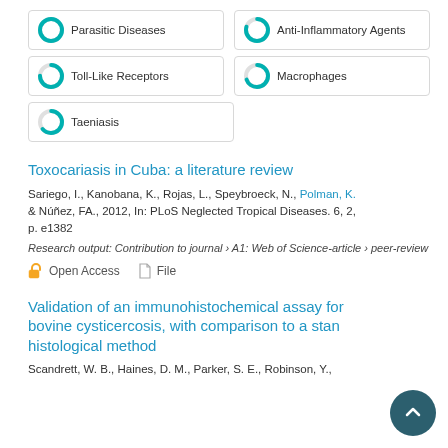[Figure (other): Five keyword badge icons with donut/pie chart icons and labels: Parasitic Diseases, Anti-Inflammatory Agents, Toll-Like Receptors, Macrophages, Taeniasis]
Toxocariasis in Cuba: a literature review
Sariego, I., Kanobana, K., Rojas, L., Speybroeck, N., Polman, K. & Núñez, FA., 2012, In: PLoS Neglected Tropical Diseases. 6, 2, p. e1382
Research output: Contribution to journal › A1: Web of Science-article › peer-review
Open Access    File
Validation of an immunohistochemical assay for bovine cysticercosis, with comparison to a standard histological method
Scandrett, W. B., Haines, D. M., Parker, S. E., Robinson, Y.,